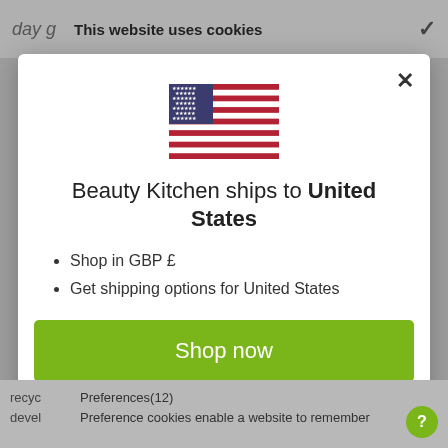day g   This website uses cookies
[Figure (illustration): US flag icon centered in the modal dialog]
Beauty Kitchen ships to United States
Shop in GBP £
Get shipping options for United States
Shop now
Change shipping country
recyc   Preferences(12)
devel   Preference cookies enable a website to remember